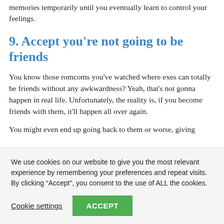memories temporarily until you eventually learn to control your feelings.
9. Accept you're not going to be friends
You know those romcoms you've watched where exes can totally be friends without any awkwardness? Yeah, that's not gonna happen in real life. Unfortunately, the reality is, if you become friends with them, it'll happen all over again.
You might even end up going back to them or worse, giving
We use cookies on our website to give you the most relevant experience by remembering your preferences and repeat visits. By clicking “Accept”, you consent to the use of ALL the cookies.
Cookie settings
ACCEPT